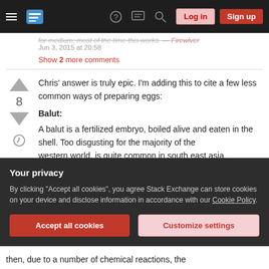Stack Exchange navigation bar with logo, help, chat, search, Log in, Sign up
for medium; most of the time this works. — Firewlver Jun 3, 2015 at 20:58
Show 2 more comments
Chris' answer is truly epic. I'm adding this to cite a few less common ways of preparing eggs:
Balut:
A balut is a fertilized embryo, boiled alive and eaten in the shell. Too disgusting for the majority of the western world, is quite common in south east asia
Your privacy
By clicking "Accept all cookies", you agree Stack Exchange can store cookies on your device and disclose information in accordance with our Cookie Policy.
then, due to a number of chemical reactions, the